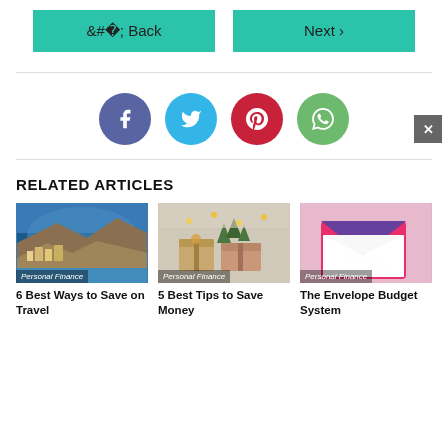‹ Back  |  Next ›
[Figure (infographic): Four social media share buttons: Facebook (dark blue/purple circle), Twitter (light blue circle), Pinterest (red circle), WhatsApp (green circle)]
RELATED ARTICLES
[Figure (photo): Coastal cliff town with blue sea - Personal Finance category thumbnail]
6 Best Ways to Save on Travel
[Figure (photo): Christmas gifts with greenery - Personal Finance category thumbnail]
5 Best Tips to Save Money
[Figure (illustration): Pink envelope with purple and red envelope flap - Personal Finance category thumbnail]
The Envelope Budget System